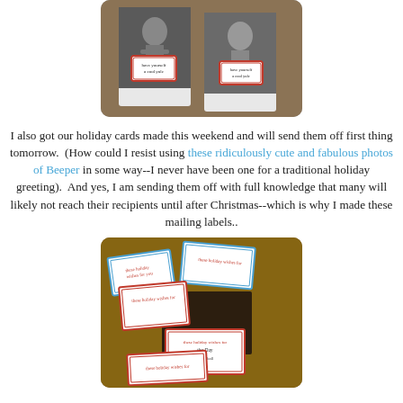[Figure (photo): Two holiday cards featuring black-and-white photos of a child, each with a red-bordered label reading 'have yourself a cool yule', arranged on a wooden surface]
I also got our holiday cards made this weekend and will send them off first thing tomorrow.  (How could I resist using these ridiculously cute and fabulous photos of Beeper in some way--I never have been one for a traditional holiday greeting).  And yes, I am sending them off with full knowledge that many will likely not reach their recipients until after Christmas--which is why I made these mailing labels..
[Figure (photo): Mailing labels with red and blue striped borders that read 'these holiday wishes for you' scattered on a wooden surface along with dark brown envelopes]